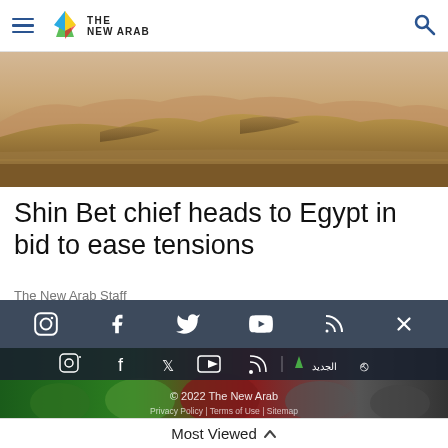The New Arab
[Figure (photo): Desert landscape with sandy dunes and mountains in the background under a hazy sky]
Shin Bet chief heads to Egypt in bid to ease tensions
The New Arab Staff
[Figure (screenshot): Social media icons bar on dark background including Instagram, Facebook, Twitter/X, YouTube, RSS]
[Figure (photo): Crowd of people wearing green turbans and scarves with a social media icon bar overlay, copyright 2022 The New Arab, Privacy Policy | Terms of Use | Sitemap]
Most Viewed ^